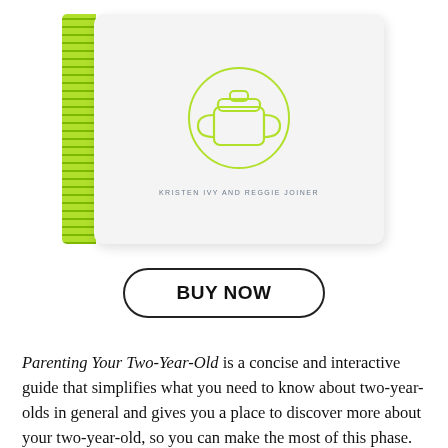[Figure (photo): A book titled 'Parenting Your Two-Year-Old' by Kristen Ivy and Reggie Joiner, shown at an angle. The book has a bright yellow-green spine with horizontal lines and a white cover featuring a sippy cup icon inside an oval circle outline.]
BUY NOW
Parenting Your Two-Year-Old is a concise and interactive guide that simplifies what you need to know about two-year-olds in general and gives you a place to discover more about your two-year-old, so you can make the most of this phase. Discover what's